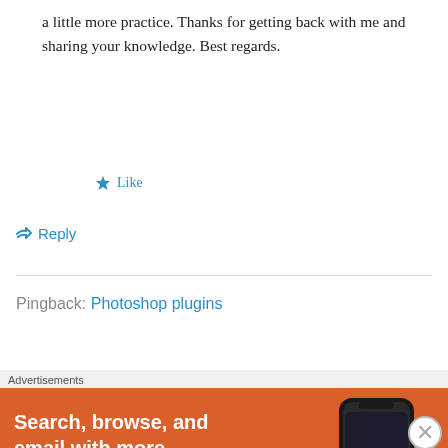a little more practice. Thanks for getting back with me and sharing your knowledge. Best regards.
★ Like
↳ Reply
Pingback: Photoshop plugins
Dan Miles on July 19, 2015 at 2:30 PM
I am using CS 6 and It says I have to many
[Figure (infographic): DuckDuckGo advertisement banner with orange background. Text reads 'Search, browse, and email with more privacy. All in One Free App' with DuckDuckGo logo and phone image.]